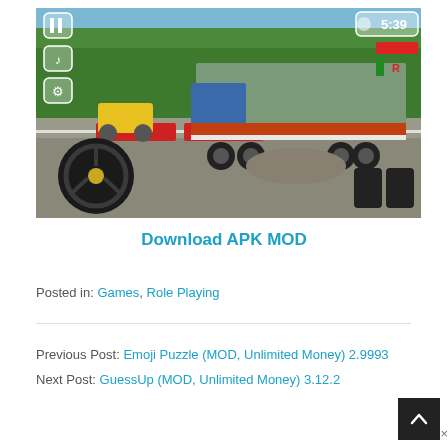[Figure (screenshot): A truck driving simulator mobile game screenshot showing a large cargo truck on a gravel road under construction with a steamroller in the background, steering wheel UI, a pause button, music icon, settings icon in the top-left, and a timer showing 5:39 with a fuel/health gauge in the top-right, and tire obstacles on the road.]
Download APK MOD
Posted in: Games, Role Playing
Previous Post: Emoji Puzzle (MOD, Unlimited Money) 2.9993
Next Post: GuessUp (MOD, Unlimited Money) 3.12.2